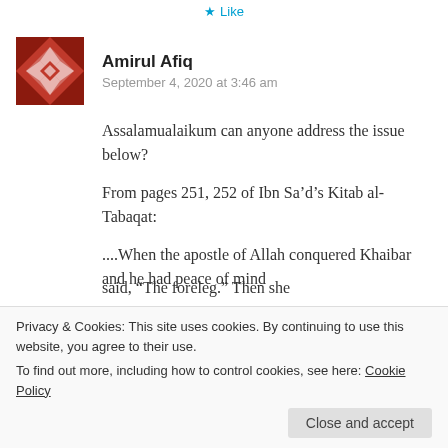Like
Amirul Afiq
September 4, 2020 at 3:46 am
Assalamualaikum can anyone address the issue below?
From pages 251, 252 of Ibn Sa’d’s Kitab al-Tabaqat:
....When the apostle of Allah conquered Khaibar and he had peace of mind
said, “The foreleg.” Then she
Privacy & Cookies: This site uses cookies. By continuing to use this website, you agree to their use.
To find out more, including how to control cookies, see here: Cookie Policy
Close and accept